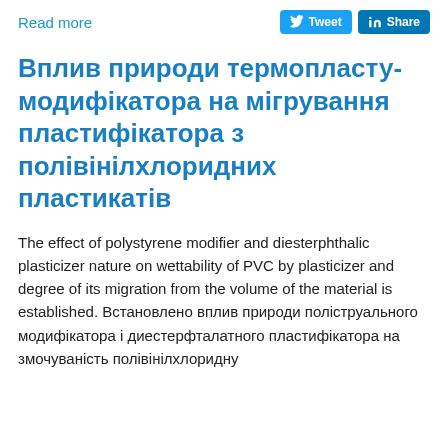Read more
Вплив природи термопласту-модифікатора на міgrування пластифікатора з полівінілхлоридних пластикатів
The effect of polystyrene modifier and diesterphthalic plasticizer nature on wettability of PVC by plasticizer and degree of its migration from the volume of the material is established. Встановлено вплив природи поліStрольного модифікатора і диестерфталатного пластифікатора на змочуваність полівінілхлоридну